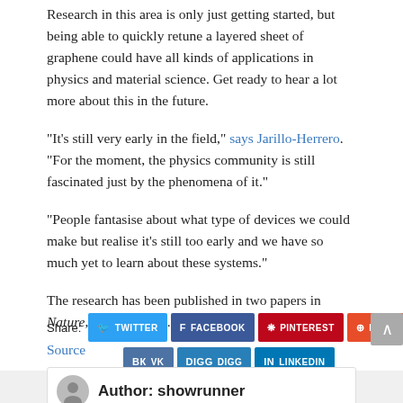Research in this area is only just getting started, but being able to quickly retune a layered sheet of graphene could have all kinds of applications in physics and material science. Get ready to hear a lot more about this in the future.
"It's still very early in the field," says Jarillo-Herrero. "For the moment, the physics community is still fascinated just by the phenomena of it."
"People fantasise about what type of devices we could make but realise it's still too early and we have so much yet to learn about these systems."
The research has been published in two papers in Nature, here and here.
Source
Share: TWITTER FACEBOOK PINTEREST REDDIT VK DIGG LINKEDIN
Author: showrunner